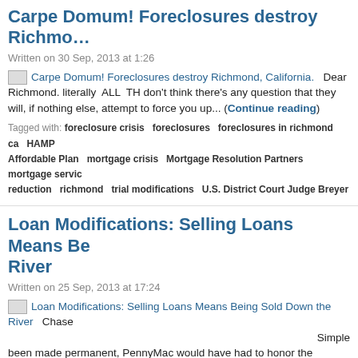Carpe Domum! Foreclosures destroy Richmond…
Written on 30 Sep, 2013 at 1:26
Carpe Domum! Foreclosures destroy Richmond, California.   Dear Richmond. literally ALL TH don't think there's any question that they will, if nothing else, attempt to force you up... (Continue reading)
Tagged with: foreclosure crisis   foreclosures   foreclosures in richmond ca   HAMP   Affordable Plan   mortgage crisis   Mortgage Resolution Partners   mortgage servic reduction   richmond   trial modifications   U.S. District Court Judge Breyer
Loan Modifications: Selling Loans Means Being Sold Down the River
Written on 25 Sep, 2013 at 17:24
Loan Modifications: Selling Loans Means Being Sold Down the River   Chase Simple been made permanent, PennyMac would have had to honor the modified payment in a trial modification, Chase is... (Continue reading)
Tagged with: bank of america   citibank   diana olick   double dip   economic recovery   Reserve Chairman Ben Bernanke   foreclosure crisis   foreclosures   HAMP   jpmorgan   modifications   loans in default   Making Home Affordable Plan   mandelman   mandelman   ml-implode   mortgage crisis   mortgage refinancing   mortgage service   delinquent loans   selling servicing rights   TARP   Treasury Secretary Tim Geithner   bank